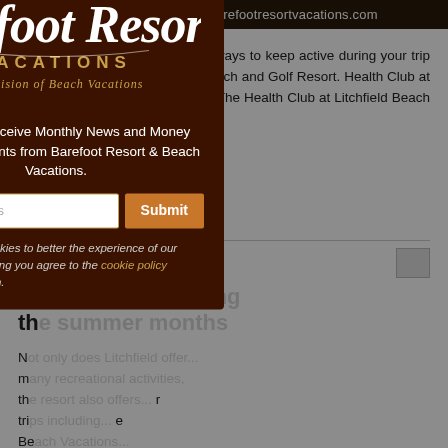(866) 238-1035  |  info@barefootresortvacations.com
program. Check out these great ways to keep active during your trip to Pawleys Island at Litchfield Beach and Golf Resort. Health Club at Litchfield Beach and Golf Resort The Health Club at Litchfield Beach and Golf Resort...
[Figure (logo): Barefoot Resort Vacations logo — stylized script 'Barefoot Resort' above 'VACATIONS' and 'A Division of Beach Vacations']
Signup to Receive Monthly News and Money Saving Discounts from Barefoot Resort & Beach Vacations.
Email Address
Submit
This site uses cookies to better the experience of our users. By continuing you agree to the cookie policy established herein.
S... the...
N... m... th... tri... Be... areas. The Gay Dolphin A trip to the Gay Dolphin is a can't-miss stop on...